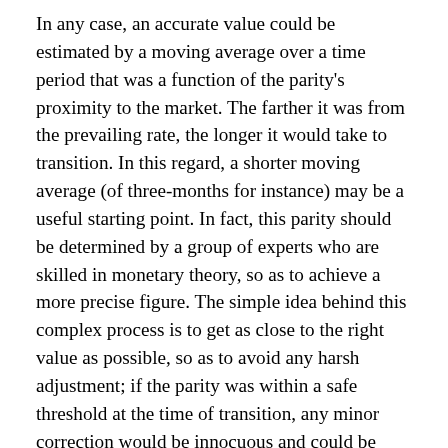In any case, an accurate value could be estimated by a moving average over a time period that was a function of the parity's proximity to the market. The farther it was from the prevailing rate, the longer it would take to transition. In this regard, a shorter moving average (of three-months for instance) may be a useful starting point. In fact, this parity should be determined by a group of experts who are skilled in monetary theory, so as to achieve a more precise figure. The simple idea behind this complex process is to get as close to the right value as possible, so as to avoid any harsh adjustment; if the parity was within a safe threshold at the time of transition, any minor correction would be innocuous and could be managed with relative ease.
It is imperative that the caliphate firmly announces its intent on completing its transition to a gold standard at a particular date in the near future. In order for this